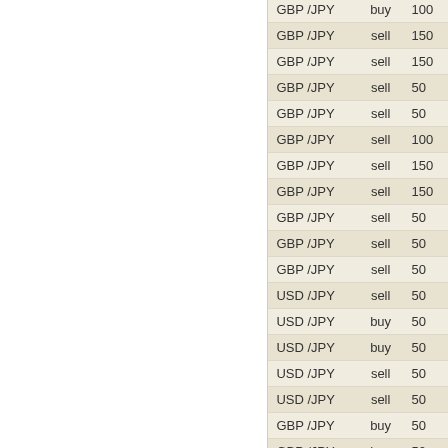| Currency | Side | Amount |
| --- | --- | --- |
| GBP /JPY | buy | 100 |
| GBP /JPY | sell | 150 |
| GBP /JPY | sell | 150 |
| GBP /JPY | sell | 50 |
| GBP /JPY | sell | 50 |
| GBP /JPY | sell | 100 |
| GBP /JPY | sell | 150 |
| GBP /JPY | sell | 150 |
| GBP /JPY | sell | 50 |
| GBP /JPY | sell | 50 |
| GBP /JPY | sell | 50 |
| USD /JPY | sell | 50 |
| USD /JPY | buy | 50 |
| USD /JPY | buy | 50 |
| USD /JPY | sell | 50 |
| USD /JPY | sell | 50 |
| GBP /JPY | buy | 50 |
| GBP /JPY | buy | 50 |
| GBP /JPY | sell | 50 |
| GBP /JPY | buy | 50 |
| GBP /JPY | sell | 50 |
| GBP /JPY | buy | 50 |
| GBP /JPY | sell | 50 |
| GBP /JPY | sell | 50 |